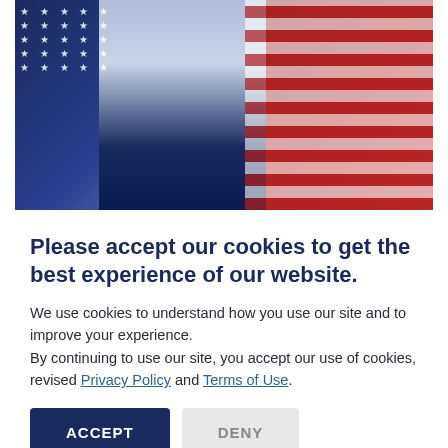[Figure (photo): American flags draped symmetrically with a dark blue center background, stars visible on left flag]
Industrial Magnets Removed from List 3 Tariffs
Good News for Magnets! You may have heard that the
Please accept our cookies to get the best experience of our website.
We use cookies to understand how you use our site and to improve your experience.
By continuing to use our site, you accept our use of cookies, revised Privacy Policy and Terms of Use.
ACCEPT
DENY